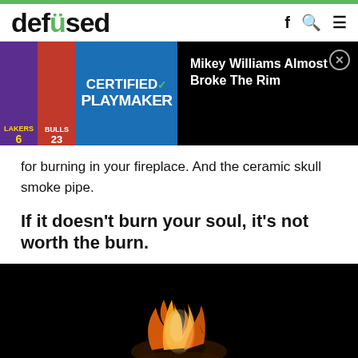defused
[Figure (screenshot): Advertisement banner showing basketball jerseys (Lakers #6, Bulls #23) with 'CERTIFIED PLAYMAKER' text on blue background, and article preview text 'Mikey Williams Almost Broke The Rim' on black background with close button]
for burning in your fireplace. And the ceramic skull smoke pipe.
If it doesn’t burn your soul, it’s not worth the burn.
[Figure (photo): Dark photo on black background showing a skull or object on fire with orange flames]